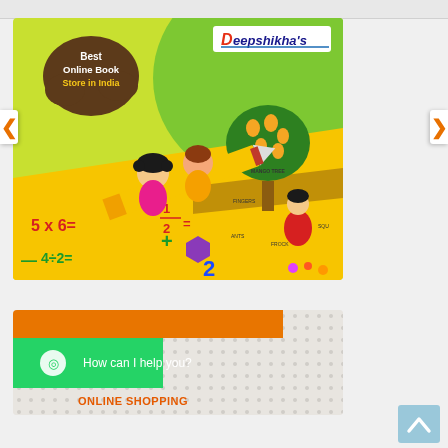[Figure (illustration): Deepshikha's online book store banner with cartoon children riding a pencil, math symbols (5x6=, 4÷2=, 1/2, <>, +), mango tree scene with cartoon girl, brown cloud bubble saying 'Best Online Book Store in India', Deepshikha's logo top right]
[Figure (screenshot): Bottom partial banner showing orange/green truck or vehicle graphic with dotted background]
How can I help you?
ONLINE SHOPPING